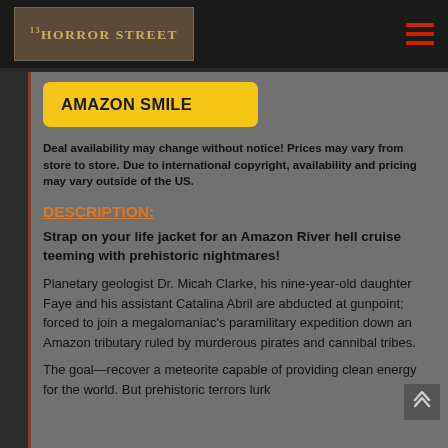[Figure (logo): 13 Horror Street logo on dark banner with hamburger menu icon on the right]
AMAZON SMILE
Deal availability may change without notice! Prices may vary from store to store. Due to international copyright, availability and pricing may vary outside of the US.
DESCRIPTION:
Strap on your life jacket for an Amazon River hell cruise teeming with prehistoric nightmares!
Planetary geologist Dr. Micah Clarke, his nine-year-old daughter Faye and his assistant Catalina Abril are abducted at gunpoint; forced to join a megalomaniac’s paramilitary expedition down an Amazon tributary ruled by murderous pirates and cannibal tribes.
The goal—recover a meteorite capable of providing clean energy for the world. But prehistoric terrors lurk